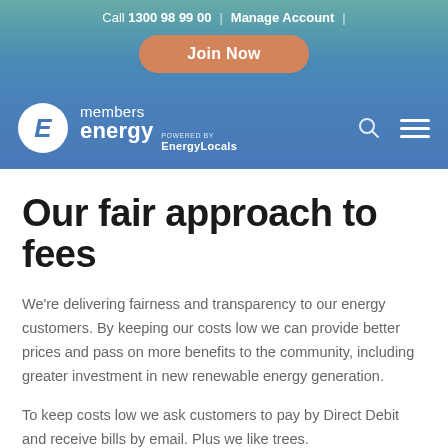Call 1300 98 99 00  |  Manage Account  |  Join Now
[Figure (logo): Members Energy powered by EnergyLocals logo with circular E emblem]
Our fair approach to fees
We're delivering fairness and transparency to our energy customers. By keeping our costs low we can provide better prices and pass on more benefits to the community, including greater investment in new renewable energy generation.
To keep costs low we ask customers to pay by Direct Debit and receive bills by email. Plus we like trees.